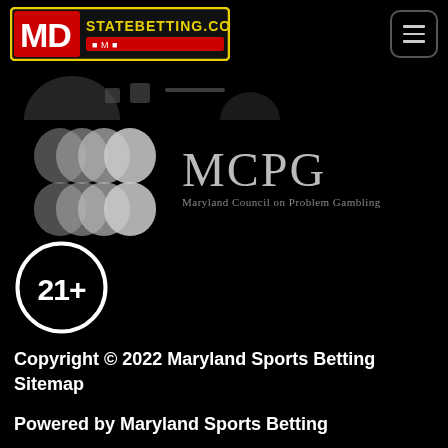[Figure (logo): MDStateBetting.com logo with red MD letters and yellow border on black background]
[Figure (logo): Partial cut-off icons strip showing social media or partner icons]
[Figure (logo): MCPG Maryland Council on Problem Gambling logo with silhouette figures]
[Figure (other): 21+ age restriction badge - black circle with white border and 21+ text]
Copyright © 2022 Maryland Sports Betting
Sitemap

Powered by Maryland Sports Betting